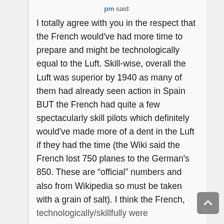pm said:
I totally agree with you in the respect that the French would've had more time to prepare and might be technologically equal to the Luft. Skill-wise, overall the Luft was superior by 1940 as many of them had already seen action in Spain BUT the French had quite a few spectacularly skill pilots which definitely would've made more of a dent in the Luft if they had the time (the Wiki said the French lost 750 planes to the German's 850. These are “official” numbers and also from Wikipedia so must be taken with a grain of salt). I think the French, technologically/skillfully were